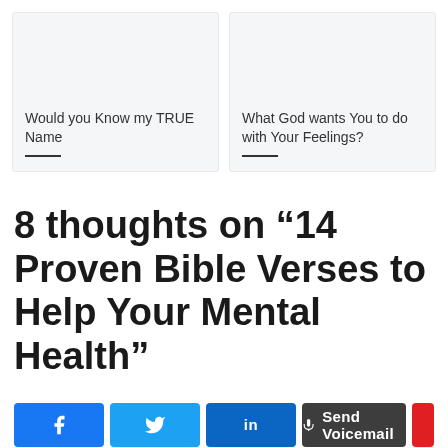[Figure (illustration): Card with title: Would you Know my TRUE Name with a short underline]
[Figure (illustration): Card with title: What God wants You to do with Your Feelings? with a short underline]
8 thoughts on “14 Proven Bible Verses to Help Your Mental Health”
[Figure (infographic): Social sharing bar with Facebook, Twitter, LinkedIn buttons and Send Voicemail button]